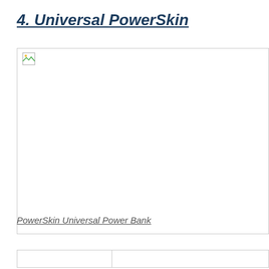4. Universal PowerSkin
[Figure (photo): Broken image placeholder for a photo of the PowerSkin Universal Power Bank product]
PowerSkin Universal Power Bank
|  |  |